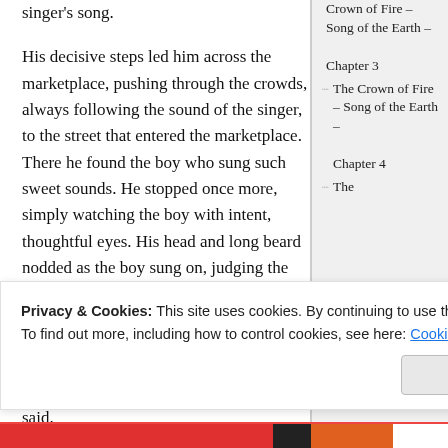singer's song.
His decisive steps led him across the marketplace, pushing through the crowds, always following the sound of the singer, to the street that entered the marketplace. There he found the boy who sung such sweet sounds. He stopped once more, simply watching the boy with intent, thoughtful eyes. His head and long beard nodded as the boy sung on, judging the tune more so than the boy. When at last the song came to its end, the man stepped in closer.
“You have a real talent there, boy,” he said.
T[partially visible text] o[partially visible text]
“[partially visible text]
The Crown of Fire – Song of the Earth – Chapter 3
The Crown of Fire – Song of the Earth – Chapter 4
The [partially visible]
Privacy & Cookies: This site uses cookies. By continuing to use this website, you agree to their use.
To find out more, including how to control cookies, see here: Cookie Policy
Close and accept